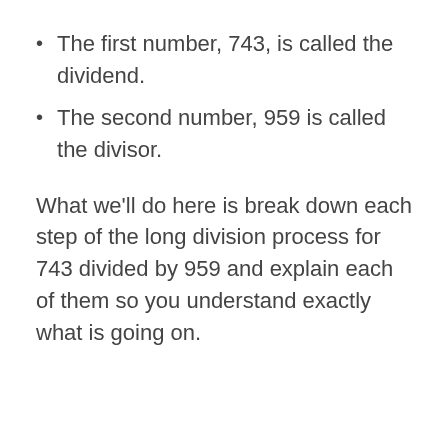The first number, 743, is called the dividend.
The second number, 959 is called the divisor.
What we'll do here is break down each step of the long division process for 743 divided by 959 and explain each of them so you understand exactly what is going on.